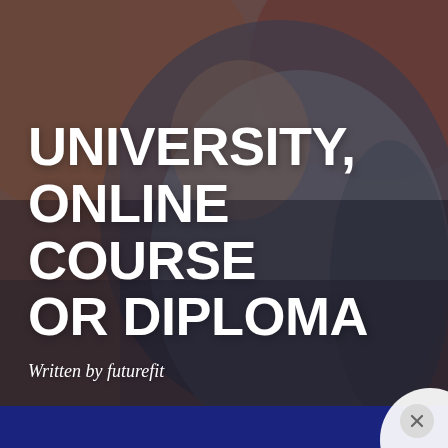[Figure (photo): Background photo of a person wearing a grey polo shirt, viewed from the side/back, with a warm blurred background. Dark overlay gradient applied over the image.]
UNIVERSITY, ONLINE COURSE OR DIPLOMA
Written by futurefit